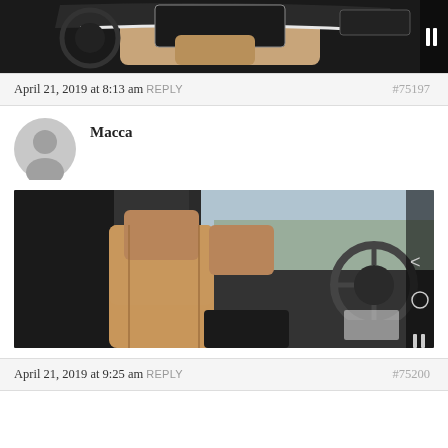[Figure (photo): Car interior dashboard photo, partial view at top of page]
April 21, 2019 at 8:13 am REPLY  #75197
[Figure (photo): Avatar silhouette icon for user Macca]
Macca
[Figure (photo): Car interior photo showing tan leather seats and steering wheel]
April 21, 2019 at 9:25 am REPLY  #75200